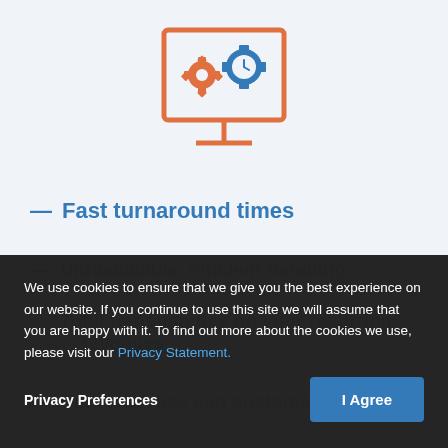[Figure (illustration): Monitor/screen icon with orange gear and blue clock/gear icons inside, on light blue background]
— Fast turnaround times
We use cookies to ensure that we give you the best experience on our website. If you continue to use this site we will assume that you are happy with it. To find out more about the cookies we use, please visit our Privacy Statement.
Privacy Preferences
I Agree